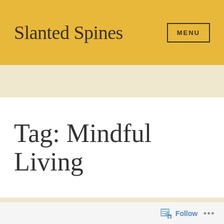Slanted Spines
Tag: Mindful Living
The Struggle is Real... Important